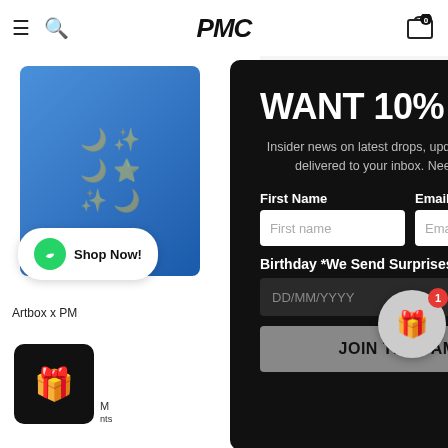[Figure (screenshot): E-commerce website screenshot showing navigation bar with hamburger menu, search icon, PMC logo, and cart icon with 0 items. A modal popup overlays the page with a newsletter signup form saying WANT 10% OFF, with fields for First Name, Email, Birthday, and a JOIN THE FAMILY button. A Shop Now chat bubble and gift reward icon are visible.]
WANT 10% OFF
Insider news on latest drops, updates and exclusives delivered to your inbox. Need we say more
First Name
Email
Birthday *We Send Surprises
DD/MM/YYYY
JOIN THE FAMILY
Shop Now!
Artbox x PM